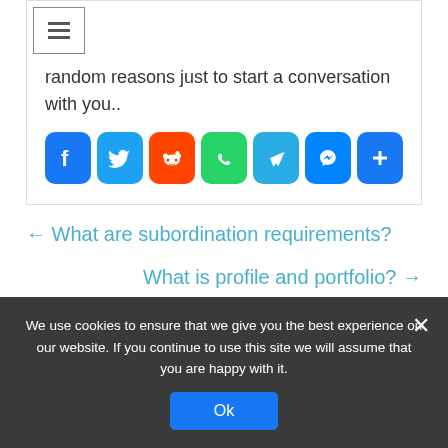[Figure (screenshot): Hamburger menu icon inside a bordered box in top-left corner]
random reasons just to start a conversation with you..
[Figure (infographic): Row of social share buttons: Facebook, Twitter, Reddit, WhatsApp, Telegram, Messenger, Share]
← What are subordination requirements?
What is profile and portfolio? →
We use cookies to ensure that we give you the best experience on our website. If you continue to use this site we will assume that you are happy with it.